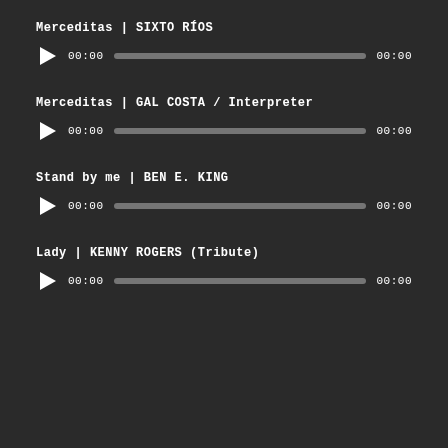Merceditas | SIXTO RÍOS
[Figure (other): Audio player with play button, progress bar, and time display showing 00:00 / 00:00]
Merceditas | GAL COSTA / Interpreter
[Figure (other): Audio player with play button, progress bar, and time display showing 00:00 / 00:00]
Stand by me | BEN E. KING
[Figure (other): Audio player with play button, progress bar, and time display showing 00:00 / 00:00]
Lady | KENNY ROGERS (Tribute)
[Figure (other): Audio player with play button, progress bar, and time display showing 00:00 / 00:00]